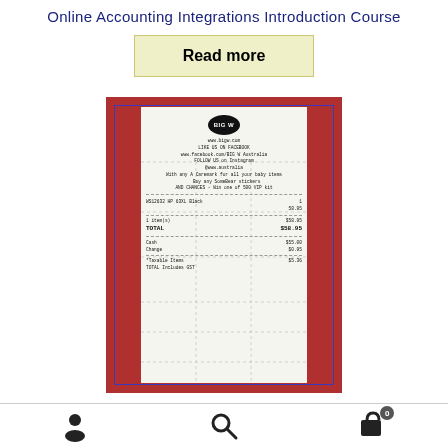Online Accounting Integrations Introduction Course
Read more
[Figure (photo): Photo of a BIG W retail receipt placed on a red surface. The receipt shows BIG W logo, store details, Facebook/Instagram social links, items purchased including WS12632 HP 63XL Black, subtotal, TOTAL $58.95, Cash $55.00, Change $0.95, Taxable Items, TOTAL Includes GST $5.36]
User icon | Search icon | Cart icon (0)